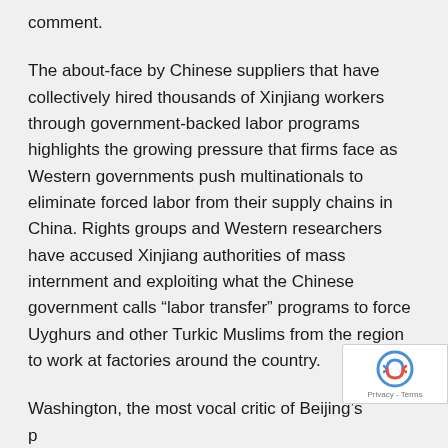comment.
The about-face by Chinese suppliers that have collectively hired thousands of Xinjiang workers through government-backed labor programs highlights the growing pressure that firms face as Western governments push multinationals to eliminate forced labor from their supply chains in China. Rights groups and Western researchers have accused Xinjiang authorities of mass internment and exploiting what the Chinese government calls “labor transfer” programs to force Uyghurs and other Turkic Muslims from the region to work at factories around the country.
Washington, the most vocal critic of Beijing’s policies in Xinjiang, has taken aim at such labor transfer programs, issuing import bans on cotton, tomatoes and